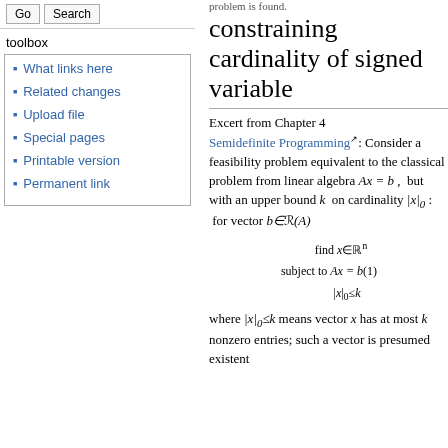problem is found.
constraining cardinality of signed variable
Excert from Chapter 4
Semidefinite Programming: Consider a feasibility problem equivalent to the classical problem from linear algebra Ax = b, but with an upper bound k on cardinality |x|_0: for vector b∈R(A)
where |x|_0 ≤ k means vector x has at most k nonzero entries; such a vector is presumed existent
What links here
Related changes
Upload file
Special pages
Printable version
Permanent link